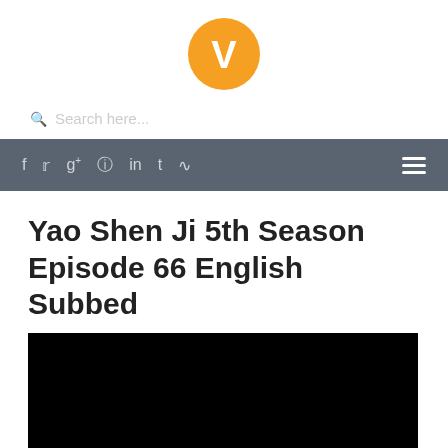[Figure (logo): Orange circle logo with white V letter inside]
Search here...
[Figure (other): Navigation bar with social media icons (f, twitter, g+, instagram, in, t, rss) and hamburger menu on dark gray background]
Yao Shen Ji 5th Season Episode 66 English Subbed
[Figure (screenshot): Black video player area]